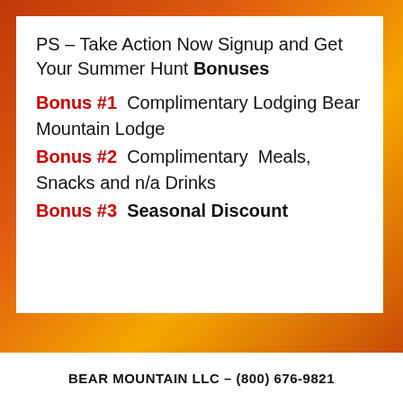PS – Take Action Now Signup and Get Your Summer Hunt Bonuses
Bonus #1  Complimentary Lodging Bear Mountain Lodge
Bonus #2  Complimentary  Meals, Snacks and n/a Drinks
Bonus #3  Seasonal Discount
BEAR MOUNTAIN LLC – (800) 676-9821